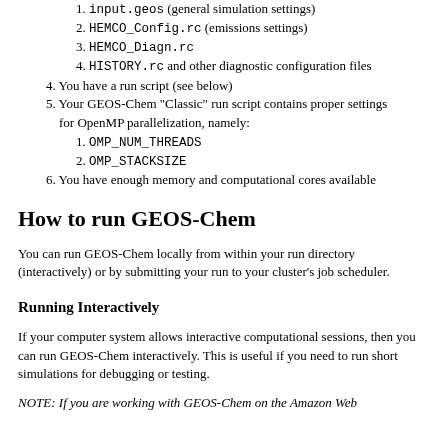1. input.geos (general simulation settings)
2. HEMCO_Config.rc (emissions settings)
3. HEMCO_Diagn.rc
4. HISTORY.rc and other diagnostic configuration files
4. You have a run script (see below)
5. Your GEOS-Chem "Classic" run script contains proper settings for OpenMP parallelization, namely:
1. OMP_NUM_THREADS
2. OMP_STACKSIZE
6. You have enough memory and computational cores available
How to run GEOS-Chem
You can run GEOS-Chem locally from within your run directory (interactively) or by submitting your run to your cluster's job scheduler.
Running Interactively
If your computer system allows interactive computational sessions, then you can run GEOS-Chem interactively. This is useful if you need to run short simulations for debugging or testing.
NOTE: If you are working with GEOS-Chem on the Amazon Web